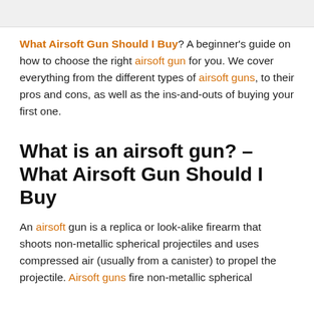What Airsoft Gun Should I Buy? A beginner's guide on how to choose the right airsoft gun for you. We cover everything from the different types of airsoft guns, to their pros and cons, as well as the ins-and-outs of buying your first one.
What is an airsoft gun? – What Airsoft Gun Should I Buy
An airsoft gun is a replica or look-alike firearm that shoots non-metallic spherical projectiles and uses compressed air (usually from a canister) to propel the projectile. Airsoft guns fire non-metallic spherical